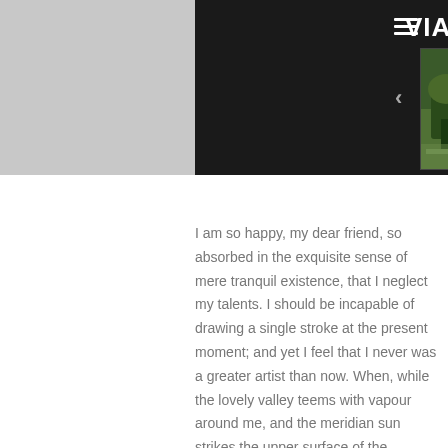[Figure (screenshot): Website header with VIAGEM logo (colorful spinning icon between VIA and EM), hamburger menu icon, back arrow, and three thumbnail travel photos showing nature/landscape scenes against dark background]
I am so happy, my dear friend, so absorbed in the exquisite sense of mere tranquil existence, that I neglect my talents. I should be incapable of drawing a single stroke at the present moment; and yet I feel that I never was a greater artist than now. When, while the lovely valley teems with vapour around me, and the meridian sun strikes the upper surface of the impenetrable foliage of my trees, and but a few stray gleams steal into the inner sanctuary, I throw myself down among the tall grass by the trickling stream; and, as I lie close to the earth, a thousand unknown plants are noticed by me: when I